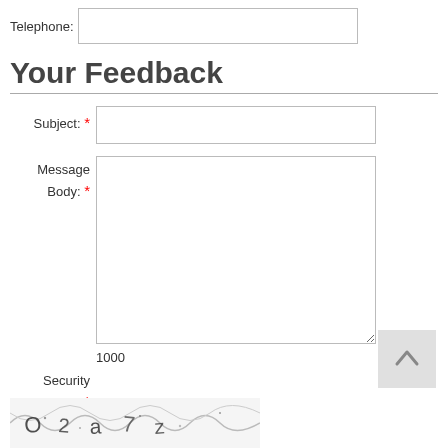Telephone:
Your Feedback
Subject: *
Message Body: *
1000
Security Code: *
[Figure (other): Scroll to top button with upward arrow]
[Figure (other): CAPTCHA image with distorted text characters]